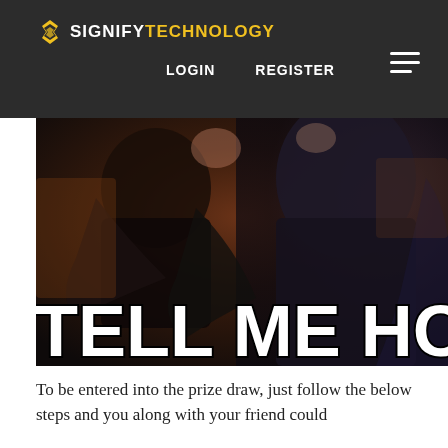SIGNIFY TECHNOLOGY — LOGIN   REGISTER
[Figure (screenshot): Meme image with dark background showing two figures, with large bold white text reading 'TELL ME HOV' (partially cropped)]
To be entered into the prize draw, just follow the below steps and you along with your friend could